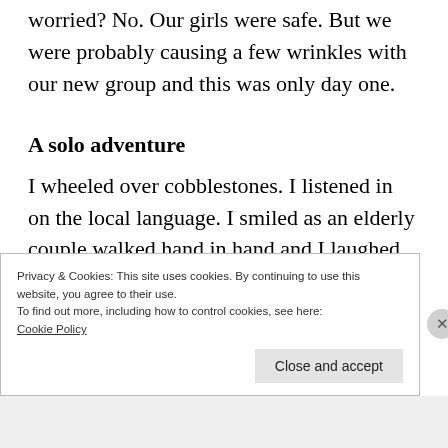were we upset. Not really. Were we worried? No. Our girls were safe. But we were probably causing a few wrinkles with our new group and this was only day one.
A solo adventure
I wheeled over cobblestones. I listened in on the local language. I smiled as an elderly couple walked hand in hand and I laughed
Privacy & Cookies: This site uses cookies. By continuing to use this website, you agree to their use.
To find out more, including how to control cookies, see here:
Cookie Policy
Close and accept